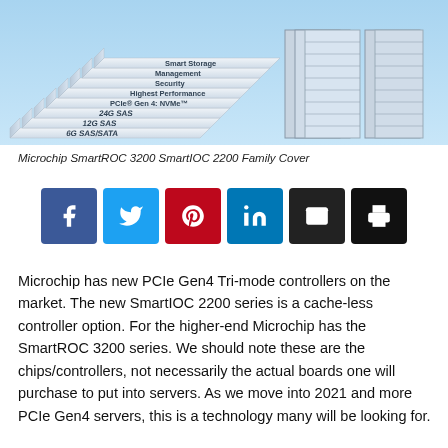[Figure (illustration): 3D staircase illustration showing storage/controller hierarchy steps labeled: 6G SAS/SATA, 12G SAS, 24G SAS, PCIe Gen 4: NVMe, Highest Performance, Security, Management, Smart Storage, with server rack on right side, on blue background.]
Microchip SmartROC 3200 SmartIOC 2200 Family Cover
[Figure (infographic): Row of six social sharing buttons: Facebook (blue), Twitter (light blue), Pinterest (red), LinkedIn (dark blue), Email (black), Print (black)]
Microchip has new PCIe Gen4 Tri-mode controllers on the market. The new SmartIOC 2200 series is a cache-less controller option. For the higher-end Microchip has the SmartROC 3200 series. We should note these are the chips/controllers, not necessarily the actual boards one will purchase to put into servers. As we move into 2021 and more PCIe Gen4 servers, this is a technology many will be looking for.